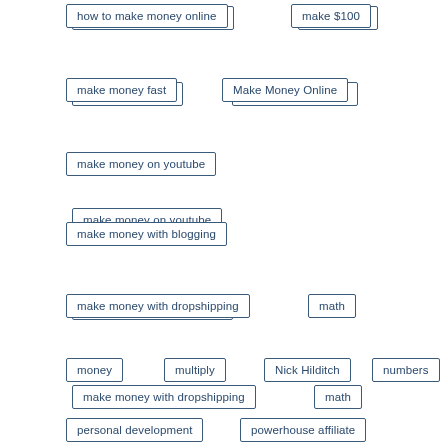how to make money online
make $100
make money fast
Make Money Online
make money on youtube
make money with blogging
make money with dropshipping
math
money
multiply
Nick Hilditch
numbers
personal development
powerhouse affiliate
powerhouse affiliate coupon code
powerhouse affiliate kenya
powerhouse affiliate login